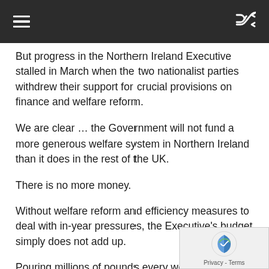But progress in the Northern Ireland Executive stalled in March when the two nationalist parties withdrew their support for crucial provisions on finance and welfare reform.
We are clear … the Government will not fund a more generous welfare system in Northern Ireland than it does in the rest of the UK.
There is no more money.
Without welfare reform and efficiency measures to deal with in-year pressures, the Executive's budget simply does not add up.
Pouring millions of pounds every week into an unreformed, high cost, welfare system in Northern Ireland means less and less money available for